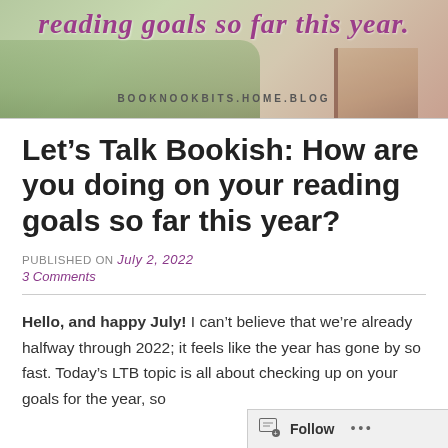[Figure (photo): Blog banner image showing outdoor grassy background with a book, text reading 'reading goals so far this year.' in italic purple font, and the URL BOOKNOOKBITS.HOME.BLOG at the bottom]
Let’s Talk Bookish: How are you doing on your reading goals so far this year?
PUBLISHED ON July 2, 2022
3 Comments
Hello, and happy July! I can’t believe that we’re already halfway through 2022; it feels like the year has gone by so fast. Today’s LTB topic is all about checking up on your goals for the year, so